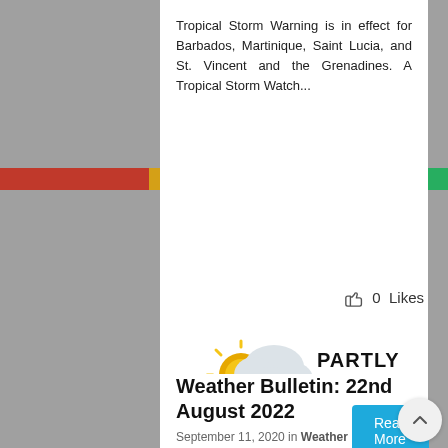Tropical Storm Warning is in effect for Barbados, Martinique, Saint Lucia, and St. Vincent and the Grenadines. A Tropical Storm Watch...
Read More
0  Likes
[Figure (illustration): Partly cloudy with isolated showers weather icon — sun behind clouds with rain drops, text reading PARTLY CLOUDY with Isolated Showers]
Weather Bulletin: 22nd August 2022
September 11, 2020 in Weather